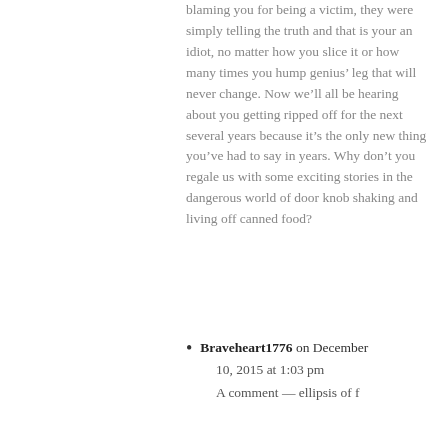blaming you for being a victim, they were simply telling the truth and that is your an idiot, no matter how you slice it or how many times you hump genius’ leg that will never change. Now we’ll all be hearing about you getting ripped off for the next several years because it’s the only new thing you’ve had to say in years. Why don’t you regale us with some exciting stories in the dangerous world of door knob shaking and living off canned food?
Braveheart1776 on December 10, 2015 at 1:03 pm
A comment — ellipsis of text